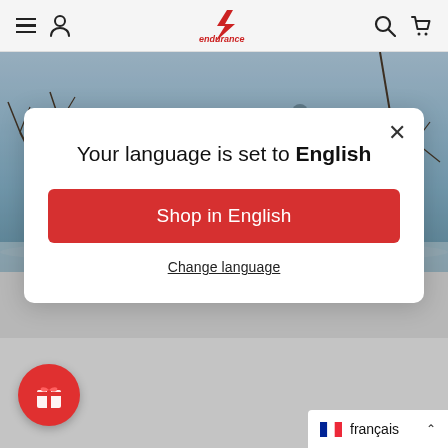Endurance — navigation bar with menu, user, logo, search, cart icons
[Figure (screenshot): Winter running background image with person running outdoors in snow/cold weather with bare trees]
Your language is set to English
Shop in English
Change language
3 workouts to keep your off-season run training on t
Winter running does not have to mean
français